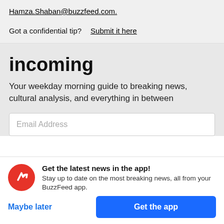Hamza.Shaban@buzzfeed.com.
Got a confidential tip?  Submit it here
incoming
Your weekday morning guide to breaking news, cultural analysis, and everything in between
Email Address
Get the latest news in the app! Stay up to date on the most breaking news, all from your BuzzFeed app.
Maybe later
Get the app